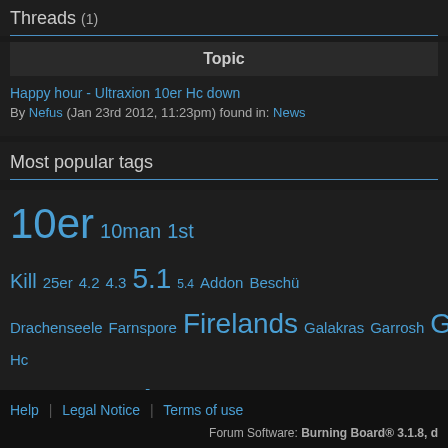Threads (1)
| Topic |
| --- |
| Happy hour - Ultraxion 10er Hc down
By Nefus (Jan 23rd 2012, 11:23pm) found in: News |
Most popular tags
10er 10man 1st Kill 25er 4.2 4.3 5.1 5.4 Addon Beschü Drachenseele Farnspore Firelands Galakras Garrosh Geburtst Hc down Heroic Heroisch Hunter Immerseus Krieger Legion Mis Ogron Orgrimmar Raid Raidkader schwarzhorn Taktik Tectus Ultra
Help | Legal Notice | Terms of use
Forum Software: Burning Board® 3.1.8, d